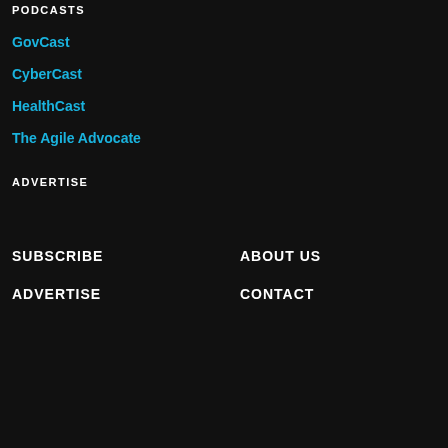PODCASTS
GovCast
CyberCast
HealthCast
The Agile Advocate
ADVERTISE
SUBSCRIBE
ABOUT US
ADVERTISE
CONTACT